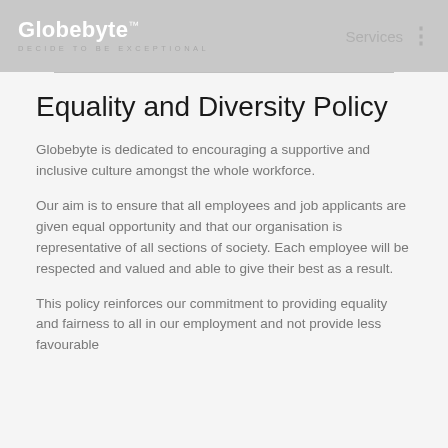Globebyte™  DECIDE TO BE EXCEPTIONAL   Services ⋮
Equality and Diversity Policy
Globebyte is dedicated to encouraging a supportive and inclusive culture amongst the whole workforce.
Our aim is to ensure that all employees and job applicants are given equal opportunity and that our organisation is representative of all sections of society. Each employee will be respected and valued and able to give their best as a result.
This policy reinforces our commitment to providing equality and fairness to all in our employment and not provide less favourable